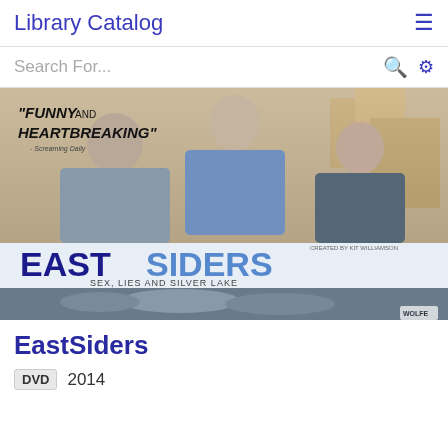Library Catalog
Search For...
[Figure (photo): DVD cover for EastSiders showing three men and the text 'FUNNY AND HEARTBREAKING', 'EASTSIDERS', 'SEX, LIES AND SILVER LAKE', along with a scene of two people below.]
EastSiders
DVD  2014